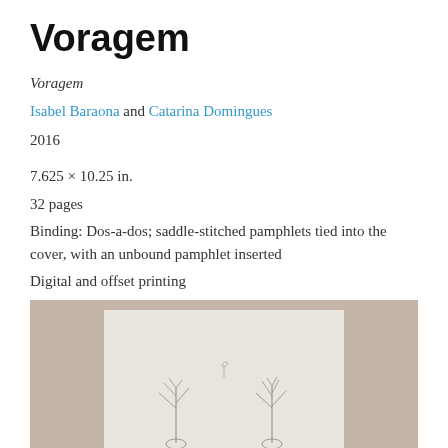Voragem
Voragem
Isabel Baraona and Catarina Domingues
2016
7.625 × 10.25 in.
32 pages
Binding: Dos-a-dos; saddle-stitched pamphlets tied into the cover, with an unbound pamphlet inserted
Digital and offset printing
Edition of 100
[Figure (photo): Photo of a book or publication with a tan/mauve cover, with an inner white page visible showing delicate ink drawings of plant-like figures]